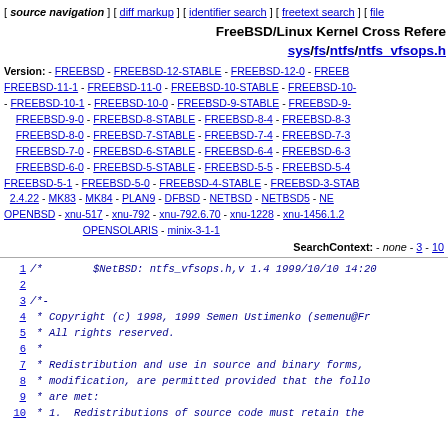[ source navigation ] [ diff markup ] [ identifier search ] [ freetext search ] [ file
FreeBSD/Linux Kernel Cross Reference sys/fs/ntfs/ntfs_vfsops.h
Version: - FREEBSD - FREEBSD-12-STABLE - FREEBSD-12-0 - FREEBSD-11-1 - FREEBSD-11-0 - FREEBSD-10-STABLE - FREEBSD-10-... - FREEBSD-10-1 - FREEBSD-10-0 - FREEBSD-9-STABLE - FREEBSD-9-... FREEBSD-9-0 - FREEBSD-8-STABLE - FREEBSD-8-4 - FREEBSD-8-3 FREEBSD-8-0 - FREEBSD-7-STABLE - FREEBSD-7-4 - FREEBSD-7-3 FREEBSD-7-0 - FREEBSD-6-STABLE - FREEBSD-6-4 - FREEBSD-6-3 FREEBSD-6-0 - FREEBSD-5-STABLE - FREEBSD-5-5 - FREEBSD-5-4 FREEBSD-5-1 - FREEBSD-5-0 - FREEBSD-4-STABLE - FREEBSD-3-STABLE 2.4.22 - MK83 - MK84 - PLAN9 - DFBSD - NETBSD - NETBSD5 - NE... OPENBSD - xnu-517 - xnu-792 - xnu-792.6.70 - xnu-1228 - xnu-1456.1.2... OPENSOLARIS - minix-3-1-1
SearchContext: - none - 3 - 10
1  /*      $NetBSD: ntfs_vfsops.h,v 1.4 1999/10/10 14:20...
2
3  /*-
4   * Copyright (c) 1998, 1999 Semen Ustimenko (semenu@Fr...
5   * All rights reserved.
6   *
7   * Redistribution and use in source and binary forms,...
8   * modification, are permitted provided that the follo...
9   * are met:
10  * 1. Redistributions of source code must retain the...